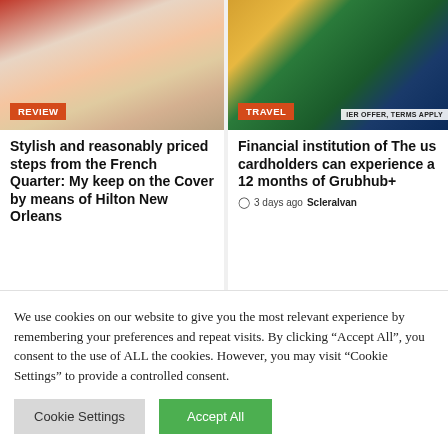[Figure (photo): Hotel room with a colorful patterned rug, white bed, and red wall. Badge reads REVIEW.]
[Figure (photo): Credit cards on a green background. Badge reads TRAVEL. Text overlay: IER OFFER, TERMS APPLY.]
Stylish and reasonably priced steps from the French Quarter: My keep on the Cover by means of Hilton New Orleans
Financial institution of The us cardholders can experience a 12 months of Grubhub+
3 days ago  Scleralvan
We use cookies on our website to give you the most relevant experience by remembering your preferences and repeat visits. By clicking "Accept All", you consent to the use of ALL the cookies. However, you may visit "Cookie Settings" to provide a controlled consent.